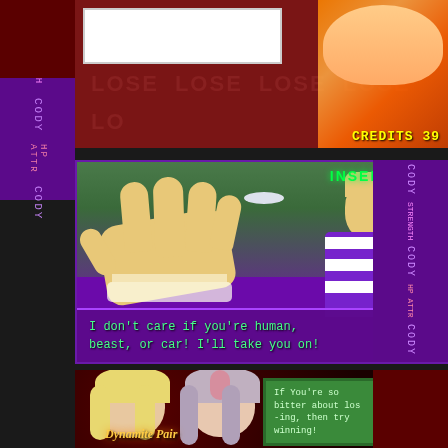[Figure (screenshot): Top panel: Fighting game screenshot with dark red background, repeating LOSE text watermark, white empty box in upper left, anime girl character in upper right corner, CREDITS 39 displayed in yellow]
CREDITS 39
[Figure (screenshot): Middle panel: Fighting game screenshot with purple background, INSERT COIN text in green, large hand/fist reaching toward viewer, blonde fighter character in purple and white striped outfit, dialogue text at bottom]
INSERT COIN
I don't care if you're human, beast, or car! I'll take you on!
[Figure (screenshot): Bottom panel: Fighting game screenshot with dark red background, two female characters (blonde and silver-haired), dialogue box with green background, name tag Dynamite Pair]
If You're so bitter about los-ing, then try winning!
Dynamite Pair